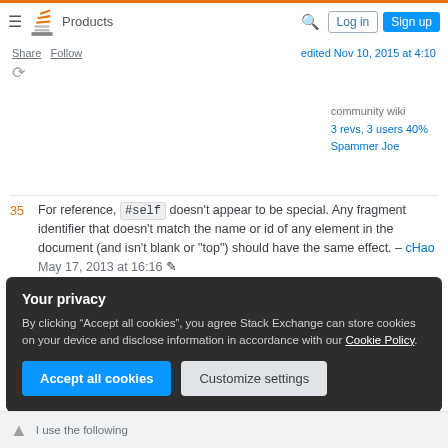≡ [StackOverflow logo] Products 🔍 Log in Sign up
Share Follow
edited Nov 10, 2015 at 4:10
community wiki
3 revs, 3 users 40%
Spammer Joe
35 For reference, #self doesn't appear to be special. Any fragment identifier that doesn't match the name or id of any element in the document (and isn't blank or "top") should have the same effect. – cHao May 17, 2013 at 16:16
Your privacy
By clicking "Accept all cookies", you agree Stack Exchange can store cookies on your device and disclose information in accordance with our Cookie Policy.
Accept all cookies  Customize settings
I use the following